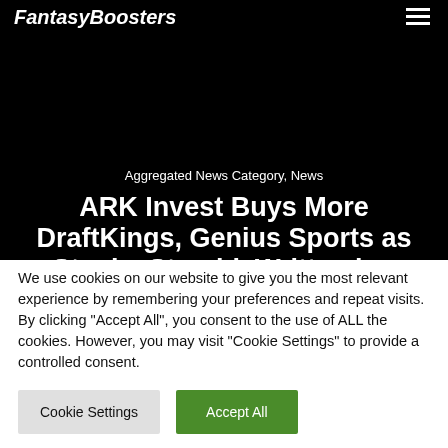FantasyBoosters
Aggregated News Category, News
ARK Invest Buys More DraftKings, Genius Sports as Stocks StumbleWritten by: Todd
We use cookies on our website to give you the most relevant experience by remembering your preferences and repeat visits. By clicking “Accept All”, you consent to the use of ALL the cookies. However, you may visit "Cookie Settings" to provide a controlled consent.
Cookie Settings | Accept All